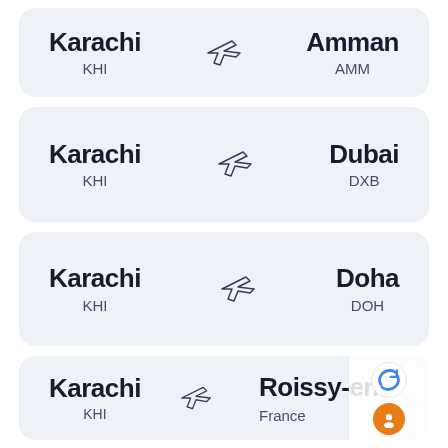[Figure (infographic): Flight route card: Karachi (KHI) to Amman (AMM) with airplane icon]
[Figure (infographic): Flight route card: Karachi (KHI) to Dubai (DXB) with airplane icon]
[Figure (infographic): Flight route card: Karachi (KHI) to Doha (DOH) with airplane icon]
[Figure (infographic): Flight route card: Karachi (KHI) to Roissy-en-France with airplane icon, partially obscured by reCAPTCHA overlay]